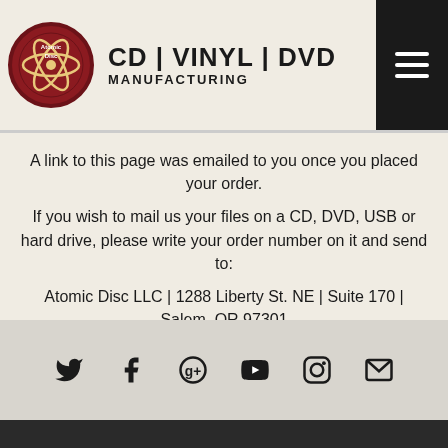CD | VINYL | DVD MANUFACTURING
A link to this page was emailed to you once you placed your order.
If you wish to mail us your files on a CD, DVD, USB or hard drive, please write your order number on it and send to:
Atomic Disc LLC | 1288 Liberty St. NE | Suite 170 | Salem, OR 97301
Social icons: Twitter, Facebook, Google+, YouTube, Instagram, Email